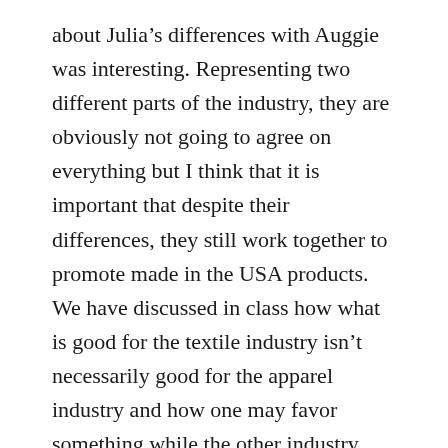about Julia's differences with Auggie was interesting. Representing two different parts of the industry, they are obviously not going to agree on everything but I think that it is important that despite their differences, they still work together to promote made in the USA products. We have discussed in class how what is good for the textile industry isn't necessarily good for the apparel industry and how one may favor something while the other industry favors something else. For example, the textile industry likes the yarn-forward rule of origin while the apparel industry likes the fabric-forward rule of origin. But promoting USA products can be seen as a common ground since it benefits both sides and creates more